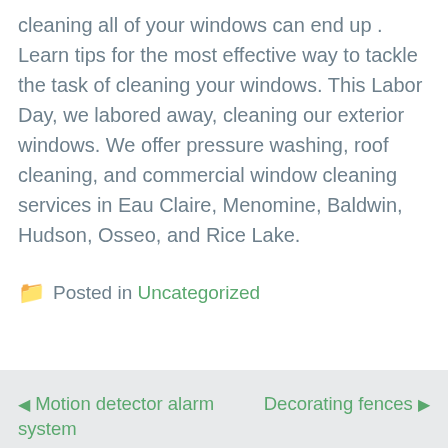cleaning all of your windows can end up . Learn tips for the most effective way to tackle the task of cleaning your windows. This Labor Day, we labored away, cleaning our exterior windows. We offer pressure washing, roof cleaning, and commercial window cleaning services in Eau Claire, Menomine, Baldwin, Hudson, Osseo, and Rice Lake.
Posted in Uncategorized
◄ Motion detector alarm system   Decorating fences ►